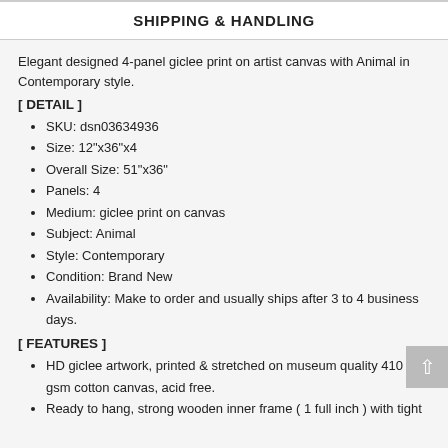SHIPPING & HANDLING
Elegant designed 4-panel giclee print on artist canvas with Animal in Contemporary style.
[ DETAIL ]
SKU: dsn03634936
Size: 12"x36"x4
Overall Size: 51"x36"
Panels: 4
Medium: giclee print on canvas
Subject: Animal
Style: Contemporary
Condition: Brand New
Availability: Make to order and usually ships after 3 to 4 business days.
[ FEATURES ]
HD giclee artwork, printed & stretched on museum quality 410 gsm cotton canvas, acid free.
Ready to hang, strong wooden inner frame ( 1 full inch ) with tight